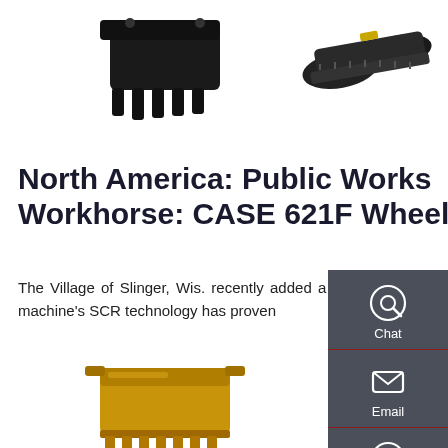[Figure (photo): Top section showing black excavator bucket/attachment and tracked undercarriage machinery parts on white background]
North America: Public Works Workhorse: CASE 621F Wheel
The Village of Slinger, Wis. recently added a new CASE 621F wheel loader to its fleet to be a jack-of-all trades, and the machine's SCR technology has proven
[Figure (screenshot): Dark sidebar panel on right side with Chat, Email, and Contact icons with labels]
Get a Quote
[Figure (photo): Bottom section showing gold/yellow wheel loader bucket attachment]